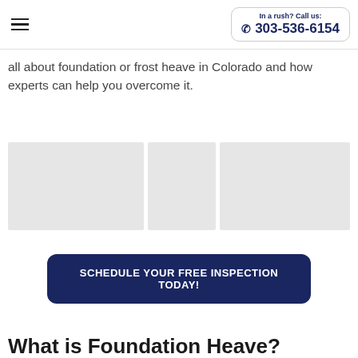In a rush? Call us: 303-536-6154
all about foundation or frost heave in Colorado and how experts can help you overcome it.
[Figure (photo): Three placeholder image panels side by side showing photo thumbnails (light gray placeholders)]
SCHEDULE YOUR FREE INSPECTION TODAY!
What is Foundation Heave?